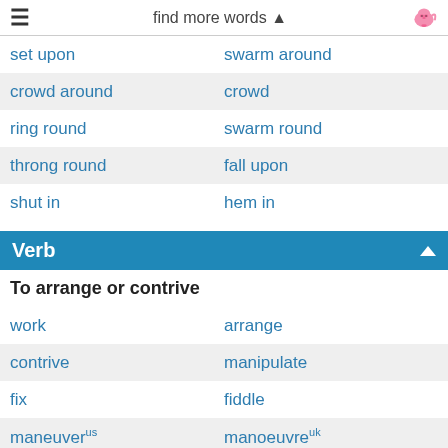find more words
set upon | swarm around
crowd around | crowd
ring round | swarm round
throng round | fall upon
shut in | hem in
Verb
To arrange or contrive
work | arrange
contrive | manipulate
fix | fiddle
maneuverᵁˢ | manoeuvreᵁᵏ
pull strings | pull wires
connive | conspire